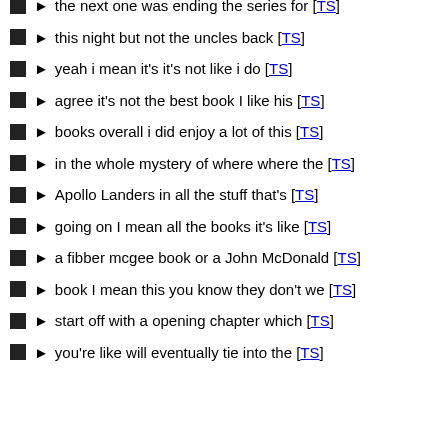the next one was ending the series for [TS]
this night but not the uncles back [TS]
yeah i mean it's it's not like i do [TS]
agree it's not the best book I like his [TS]
books overall i did enjoy a lot of this [TS]
in the whole mystery of where where the [TS]
Apollo Landers in all the stuff that's [TS]
going on I mean all the books it's like [TS]
a fibber mcgee book or a John McDonald [TS]
book I mean this you know they don't we [TS]
start off with a opening chapter which [TS]
you're like will eventually tie into the [TS]